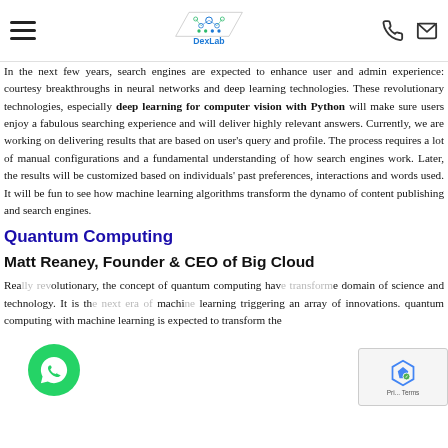DexLab
In the next few years, search engines are expected to enhance user and admin experience: courtesy breakthroughs in neural networks and deep learning technologies. These revolutionary technologies, especially deep learning for computer vision with Python will make sure users enjoy a fabulous searching experience and will deliver highly relevant answers. Currently, we are working on delivering results that are based on user's query and profile. The process requires a lot of manual configurations and a fundamental understanding of how search engines work. Later, the results will be customized based on individuals' past preferences, interactions and words used. It will be fun to see how machine learning algorithms transform the dynamo of content publishing and search engines.
Quantum Computing
Matt Reaney, Founder & CEO of Big Cloud
Rea...olutionary, the concept of quantum computing hav...e domain of science and technology. It is th... machi... learning triggering an array of innovations. quantum computing with machine learning is expected to transform the